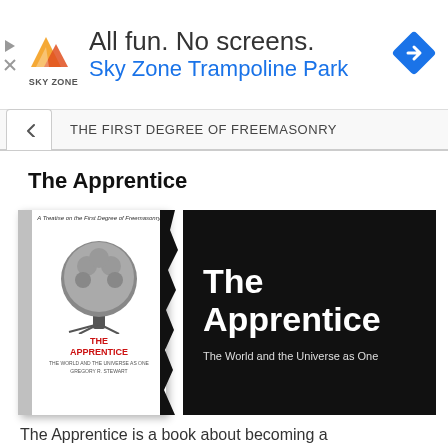[Figure (illustration): Sky Zone Trampoline Park advertisement banner with logo (mountain-like orange/red shape), text 'All fun. No screens.' and 'Sky Zone Trampoline Park' in blue, and a blue diamond navigation icon on the right. Small play and close icons on the left edge.]
THE FIRST DEGREE OF FREEMASONRY
The Apprentice
[Figure (illustration): Composite image: left side shows a white book cover with a tree illustration and red text 'THE APPRENTICE, THE WORLD AND THE UNIVERSE AS ONE, GREGORY R. STEWART'. Right side shows a black panel with large white bold text 'The Apprentice' and subtitle 'The World and the Universe as One'.]
The Apprentice is a book about becoming a